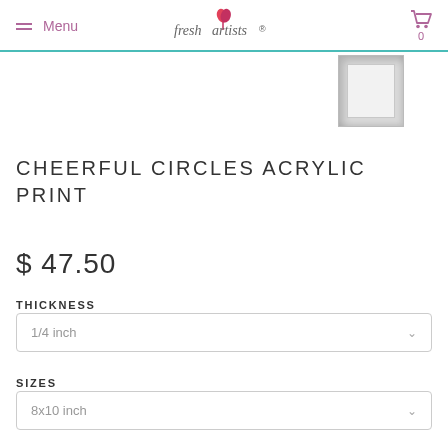Menu | fresh artists | 0
[Figure (photo): Small square acrylic print product thumbnail showing a white/light grey framed print]
CHEERFUL CIRCLES ACRYLIC PRINT
$ 47.50
THICKNESS
1/4 inch
SIZES
8x10 inch